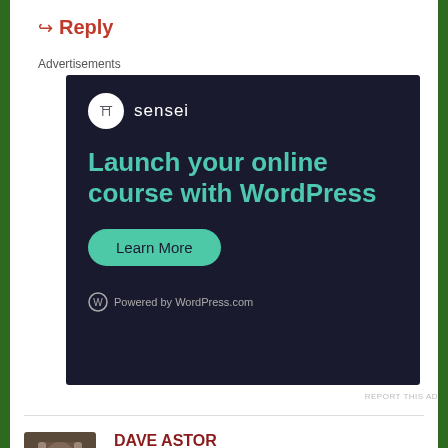↪ Reply
Advertisements
[Figure (illustration): Sensei advertisement: dark background with Sensei logo, text 'Launch your online course with WordPress', a 'Learn More' button, and 'Powered by WordPress.com' at the bottom.]
REPORT THIS AD
DAVE ASTOR
January 26, 2021 at 2:56 pm